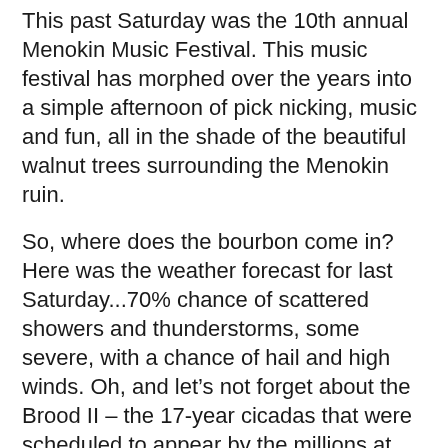This past Saturday was the 10th annual Menokin Music Festival. This music festival has morphed over the years into a simple afternoon of pick nicking, music and fun, all in the shade of the beautiful walnut trees surrounding the Menokin ruin.
So, where does the bourbon come in? Here was the weather forecast for last Saturday...70% chance of scattered showers and thunderstorms, some severe, with a chance of hail and high winds. Oh, and let’s not forget about the Brood II – the 17-year cicadas that were scheduled to appear by the millions at any moment.
Several skeptical folks called ahead to make sure we hadn’t decided to cancel the whole thing. Nope. No way. Rain or shine. Hail or locusts. If the Egyptians could handle it, so could we.  What the Egyptians didn’t have was bourbon. Buried safe in the ground